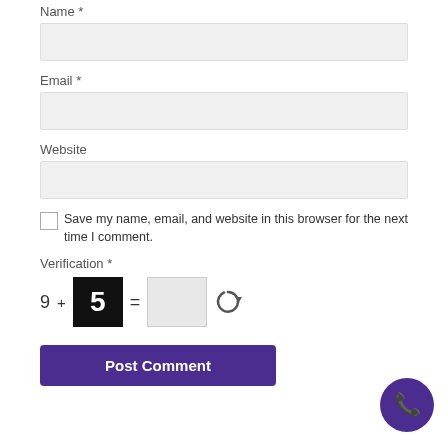Name *
[Figure (other): Name input field (empty text box)]
Email *
[Figure (other): Email input field (empty text box)]
Website
[Figure (other): Website input field (empty text box)]
Save my name, email, and website in this browser for the next time I comment.
Verification *
[Figure (other): Math CAPTCHA: 9 + 5 = [input box] with refresh icon]
[Figure (other): Post Comment button (purple)]
[Figure (other): Purple phone icon circle button (bottom right)]